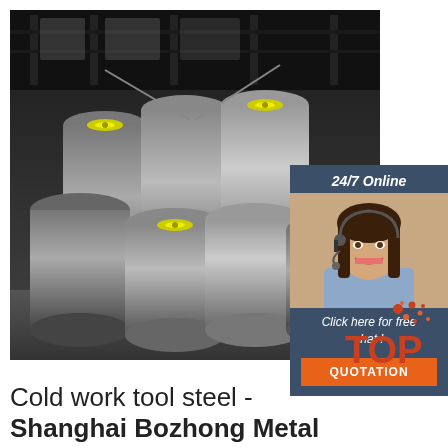[Figure (photo): Industrial photo showing multiple round steel bars/billets stacked in a warehouse or factory setting, with yellow end-caps, viewed at an angle. Dark factory background visible.]
[Figure (photo): Online chat widget overlay showing a smiling woman with headset, '24/7 Online' text, 'Click here for free chat!' text, and an orange QUOTATION button.]
[Figure (logo): TOP logo with orange splash dots above the text 'TOP' in orange.]
Cold work tool steel - Shanghai Bozhong Metal